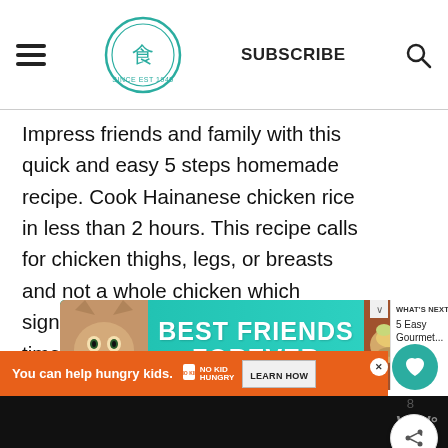SUBSCRIBE
Impress friends and family with this quick and easy 5 steps homemade recipe. Cook Hainanese chicken rice in less than 2 hours. This recipe calls for chicken thighs, legs, or breasts and not a whole chicken which significantly reduces the cooking time needed
[Figure (infographic): BEST FRIENDS FOREVER advertisement banner with a cat photo]
[Figure (infographic): WHAT'S NEXT panel: 5 Easy Gourmet...]
[Figure (infographic): You can help hungry kids. NO KID HUNGRY LEARN HOW advertisement strip]